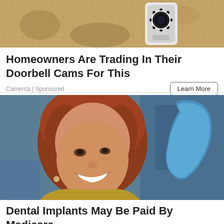[Figure (photo): Close-up photo of a doorbell camera mounted on a textured wall]
Homeowners Are Trading In Their Doorbell Cams For This
Camerca | Sponsored
[Figure (photo): Smiling red-haired woman at a dental office holding a blue tooth-shaped mirror]
Dental Implants May Be Paid By Medicare